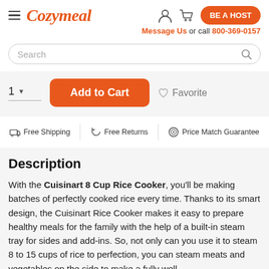Cozymeal — BE A HOST
Message Us or call 800-369-0157
Search
1 ▾  Add to Cart  ♡ Favorite
🚚 Free Shipping  ↩ Free Returns  ⊙ Price Match Guarantee
Description
With the Cuisinart 8 Cup Rice Cooker, you'll be making batches of perfectly cooked rice every time. Thanks to its smart design, the Cuisinart Rice Cooker makes it easy to prepare healthy meals for the family with the help of a built-in steam tray for sides and add-ins. So, not only can you use it to steam 8 to 15 cups of rice to perfection, you can steam meats and vegetables on the side to make a fully well-